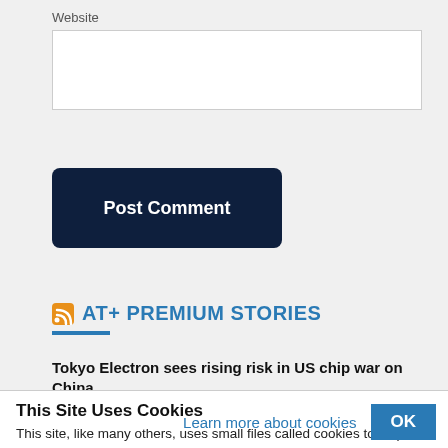Website
[Website input field]
Post Comment
AT+ PREMIUM STORIES
Tokyo Electron sees rising risk in US chip war on China
This Site Uses Cookies
This site, like many others, uses small files called cookies to help us improve and customize your experience. Learn more about how we use cookies in our cookie policy.
Learn more about cookies
OK